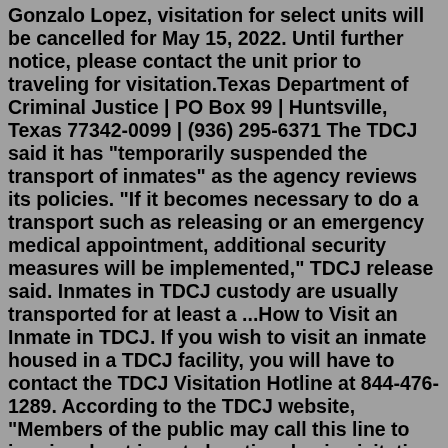Gonzalo Lopez, visitation for select units will be cancelled for May 15, 2022. Until further notice, please contact the unit prior to traveling for visitation.Texas Department of Criminal Justice | PO Box 99 | Huntsville, Texas 77342-0099 | (936) 295-6371 The TDCJ said it has "temporarily suspended the transport of inmates" as the agency reviews its policies. "If it becomes necessary to do a transport such as releasing or an emergency medical appointment, additional security measures will be implemented," TDCJ release said. Inmates in TDCJ custody are usually transported for at least a ...How to Visit an Inmate in TDCJ. If you wish to visit an inmate housed in a TDCJ facility, you will have to contact the TDCJ Visitation Hotline at 844-476-1289. According to the TDCJ website, "Members of the public may call this line to inquire about inmate location, basic visitation policy questions, unit family liaison officer information, and ...